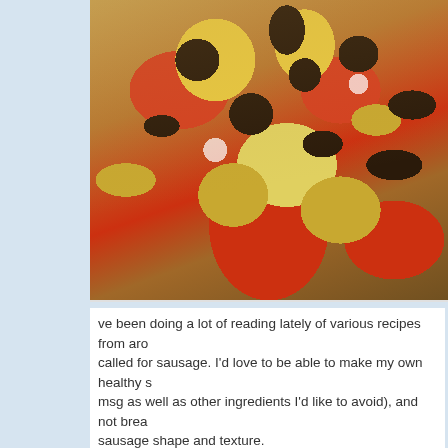[Figure (photo): Close-up photo of a homemade pizza with dark sausage/pepperoni slices, melted cheese, diced onions, and tomato sauce on a baked crust, placed on a dark baking surface.]
ve been doing a lot of reading lately of various recipes from aro... called for sausage. I'd love to be able to make my own healthy s... msg as well as other ingredients I'd like to avoid), and not brea... sausage shape and texture. However, as I was looking for sausage recipes, such as homem... in my way. -I didn't know where I could get sausage casings. -I didn't know where I could get curing salt. -I don't have the facilities to hang my sausage to dry for wee...